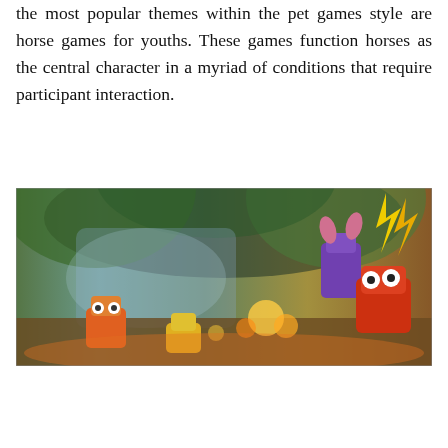the most popular themes within the pet games style are horse games for youths. These games function horses as the central character in a myriad of conditions that require participant interaction.
[Figure (photo): A colorful video game screenshot showing animated characters in a jungle or cave setting with orange, yellow, and purple characters visible among greenery and warm lighting.]